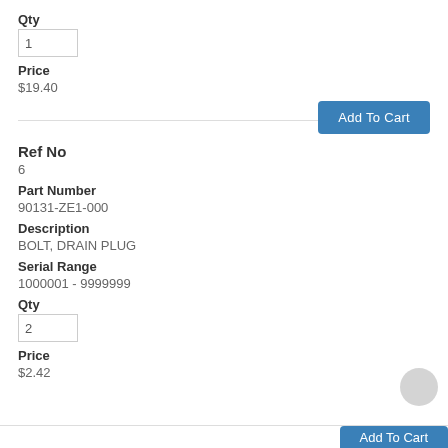Qty
1
Price
$19.40
Add To Cart
Ref No
6
Part Number
90131-ZE1-000
Description
BOLT, DRAIN PLUG
Serial Range
1000001 - 9999999
Qty
2
Price
$2.42
Add To Cart